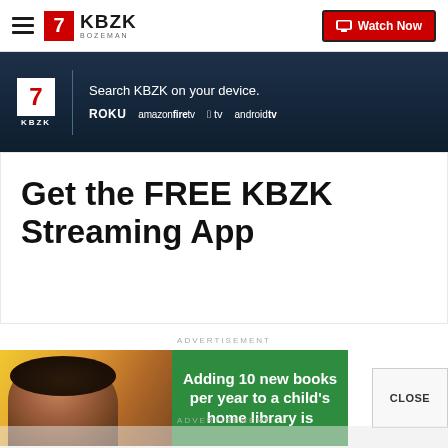KBZK BOZEMAN — Watch Now
[Figure (screenshot): Dark streaming banner: KBZK logo, 'Search KBZK on your device.' with platform logos: Roku, amazon fire tv, Apple tv, androidtv]
Get the FREE KBZK Streaming App
ADVERTISEMENT
[Figure (photo): Advertisement banner: smiling child on left with yellow/orange background, green panel on right reading 'Adding 10 new books per year to a child's home library is']
CLOSE
ADVERTISEMENT